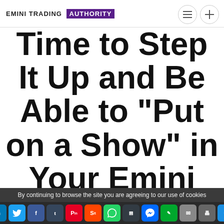EMINI TRADING AUTHORITY
Time to Step It Up and Be Able to "Put on a Show" in Your Emini Trading By Employing HARVESTER - a
By continuing to browse the site you are agreeing to our use of cookies
[Figure (infographic): Social sharing buttons bar: LinkedIn, Twitter, Facebook, Tumblr, Pinterest, Reddit, WhatsApp, Buffer, Messenger, Evernote, Email, Print, Plus]